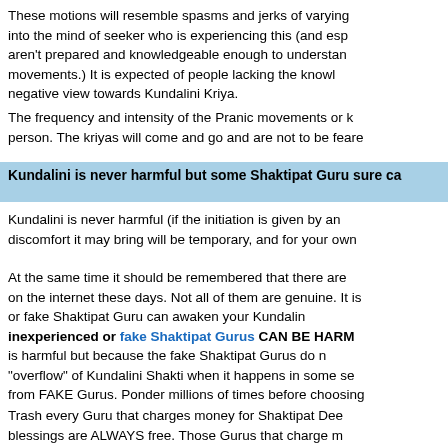These motions will resemble spasms and jerks of varying into the mind of seeker who is experiencing this (and esp aren't prepared and knowledgeable enough to understan movements.) It is expected of people lacking the knowl negative view towards Kundalini Kriya.
The frequency and intensity of the Pranic movements or k person. The kriyas will come and go and are not to be feare
Kundalini is never harmful but some Shaktipat Guru sure ca
Kundalini is never harmful (if the initiation is given by an discomfort it may bring will be temporary, and for your own
At the same time it should be remembered that there are on the internet these days. Not all of them are genuine. It is or fake Shaktipat Guru can awaken your Kundalin inexperienced or fake Shaktipat Gurus CAN BE HARM is harmful but because the fake Shaktipat Gurus do n "overflow" of Kundalini Shakti when it happens in some se from FAKE Gurus. Ponder millions of times before choosing
Trash every Guru that charges money for Shaktipat Dee blessings are ALWAYS free. Those Gurus that charge m